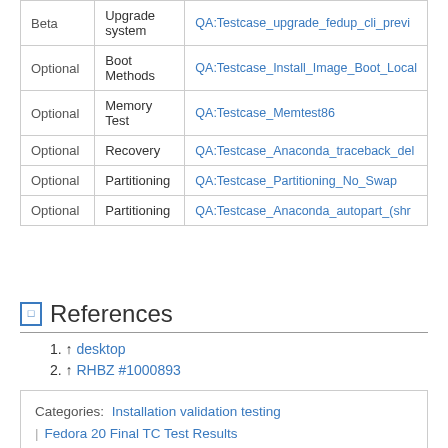|  |  |  |
| --- | --- | --- |
| Beta | Upgrade system | QA:Testcase_upgrade_fedup_cli_previ... |
| Optional | Boot Methods | QA:Testcase_Install_Image_Boot_Local... |
| Optional | Memory Test | QA:Testcase_Memtest86 |
| Optional | Recovery | QA:Testcase_Anaconda_traceback_del... |
| Optional | Partitioning | QA:Testcase_Partitioning_No_Swap |
| Optional | Partitioning | QA:Testcase_Anaconda_autopart_(shr... |
References
1. ↑ desktop
2. ↑ RHBZ #1000893
Categories:  Installation validation testing | Fedora 20 Final TC Test Results